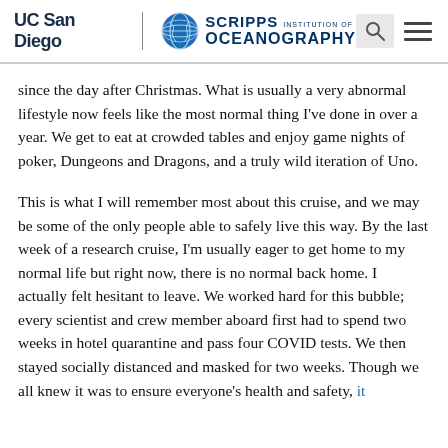UC San Diego | Scripps Institution of Oceanography
since the day after Christmas. What is usually a very abnormal lifestyle now feels like the most normal thing I've done in over a year. We get to eat at crowded tables and enjoy game nights of poker, Dungeons and Dragons, and a truly wild iteration of Uno.
This is what I will remember most about this cruise, and we may be some of the only people able to safely live this way. By the last week of a research cruise, I'm usually eager to get home to my normal life but right now, there is no normal back home. I actually felt hesitant to leave. We worked hard for this bubble; every scientist and crew member aboard first had to spend two weeks in hotel quarantine and pass four COVID tests. We then stayed socially distanced and masked for two weeks. Though we all knew it was to ensure everyone's health and safety, it